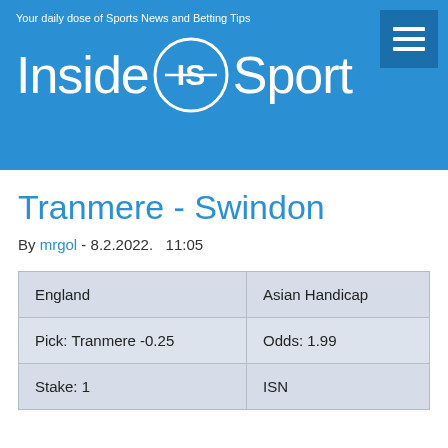Your daily dose of Sports News and Betting Tips
[Figure (logo): Inside Sport logo with circular IS emblem, white text on blue background]
Tranmere - Swindon
By mrgol - 8.2.2022.   11:05
| England | Asian Handicap |
| Pick: Tranmere -0.25 | Odds: 1.99 |
| Stake: 1 | ISN |